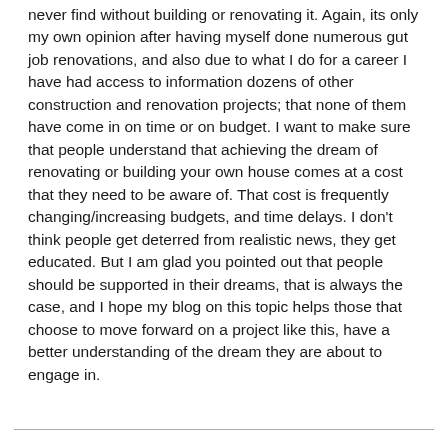never find without building or renovating it. Again, its only my own opinion after having myself done numerous gut job renovations, and also due to what I do for a career I have had access to information dozens of other construction and renovation projects; that none of them have come in on time or on budget. I want to make sure that people understand that achieving the dream of renovating or building your own house comes at a cost that they need to be aware of. That cost is frequently changing/increasing budgets, and time delays. I don't think people get deterred from realistic news, they get educated. But I am glad you pointed out that people should be supported in their dreams, that is always the case, and I hope my blog on this topic helps those that choose to move forward on a project like this, have a better understanding of the dream they are about to engage in.